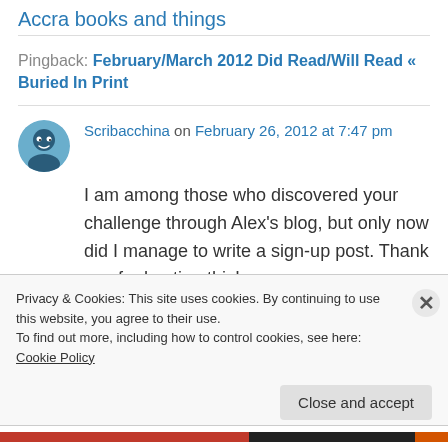Accra books and things
Pingback: February/March 2012 Did Read/Will Read « Buried In Print
Scribacchina on February 26, 2012 at 7:47 pm
I am among those who discovered your challenge through Alex's blog, but only now did I manage to write a sign-up post. Thank you for hosting this!
Privacy & Cookies: This site uses cookies. By continuing to use this website, you agree to their use.
To find out more, including how to control cookies, see here: Cookie Policy